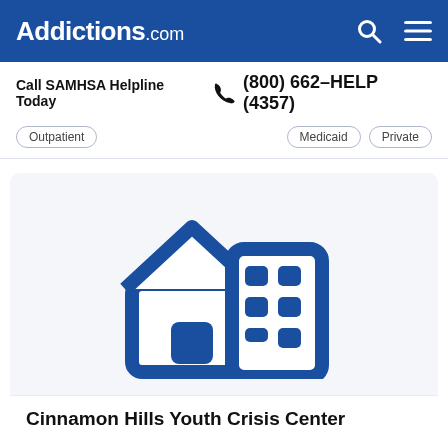Addictions.com
Call SAMHSA Helpline Today  (800) 662-HELP (4357)
Outpatient
Medicaid
Private
[Figure (illustration): Icon of a house and a multi-story building in dark blue, representing a treatment facility]
Cinnamon Hills Youth Crisis Center